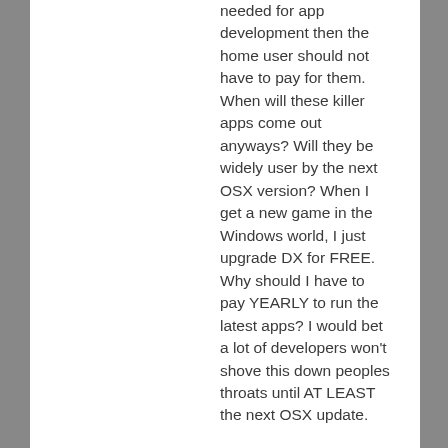needed for app development then the home user should not have to pay for them. When will these killer apps come out anyways? Will they be widely user by the next OSX version? When I get a new game in the Windows world, I just upgrade DX for FREE. Why should I have to pay YEARLY to run the latest apps? I would bet a lot of developers won't shove this down peoples throats until AT LEAST the next OSX update.
Forced APIs are not always bad. I...